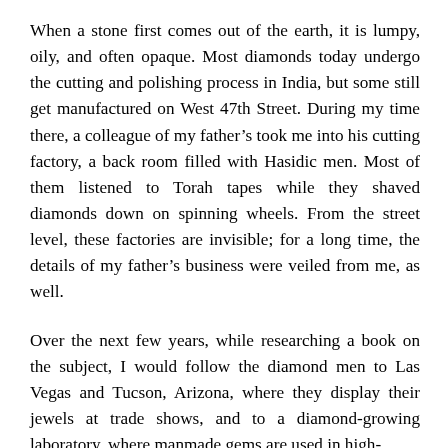When a stone first comes out of the earth, it is lumpy, oily, and often opaque. Most diamonds today undergo the cutting and polishing process in India, but some still get manufactured on West 47th Street. During my time there, a colleague of my father’s took me into his cutting factory, a back room filled with Hasidic men. Most of them listened to Torah tapes while they shaved diamonds down on spinning wheels. From the street level, these factories are invisible; for a long time, the details of my father’s business were veiled from me, as well.
Over the next few years, while researching a book on the subject, I would follow the diamond men to Las Vegas and Tucson, Arizona, where they display their jewels at trade shows, and to a diamond-growing laboratory, where manmade gems are used in high-